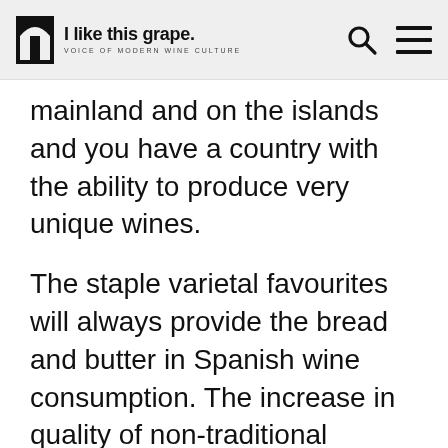I like this grape. VOICE OF MODERN WINE CULTURE
mainland and on the islands and you have a country with the ability to produce very unique wines.
The staple varietal favourites will always provide the bread and butter in Spanish wine consumption. The increase in quality of non-traditional varietals should give the average wine drinker something to think about. I've always been a firm believer that grapes show their truest expression when grown in their indigenous home. However, that doesn't mean they can't find an alternative expression